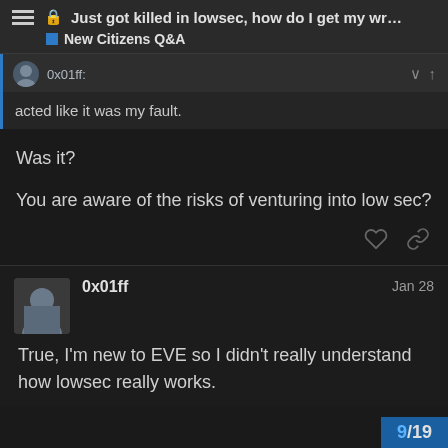Just got killed in lowsec, how do I get my wr... | New Citizens Q&A
acted like it was my fault.
Was it?

You are aware of the risks of venturing into low sec?
0x01ff  Jan 28

True, I'm new to EVE so I didn't really understand how lowsec really works.
9/19